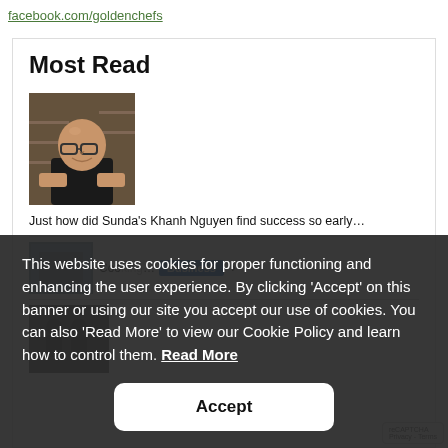facebook.com/goldenchefs
Most Read
[Figure (photo): Portrait photo of a bald man with glasses wearing a black shirt, seated in a restaurant or kitchen setting]
Just how did Sunda's Khanh Nguyen find success so early...
[Figure (photo): Small thumbnail image, partially visible behind cookie banner]
Cooking... Business >
[Figure (photo): Third thumbnail image at bottom left, partially visible]
This website uses cookies for proper functioning and enhancing the user experience. By clicking ‘Accept’ on this banner or using our site you accept our use of cookies. You can also ‘Read More’ to view our Cookie Policy and learn how to control them. Read More
Accept